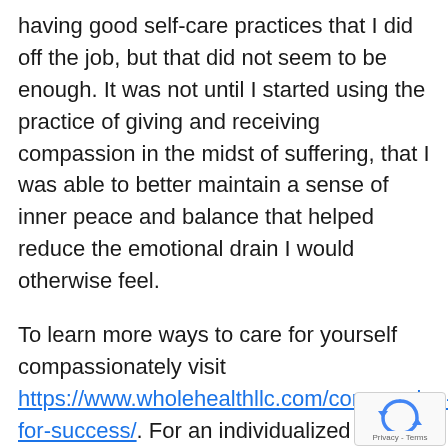having good self-care practices that I did off the job, but that did not seem to be enough. It was not until I started using the practice of giving and receiving compassion in the midst of suffering, that I was able to better maintain a sense of inner peace and balance that helped reduce the emotional drain I would otherwise feel.
To learn more ways to care for yourself compassionately visit https://www.wholehealthllc.com/compassion-for-success/. For an individualized and holi treatment plan, call the office to make an